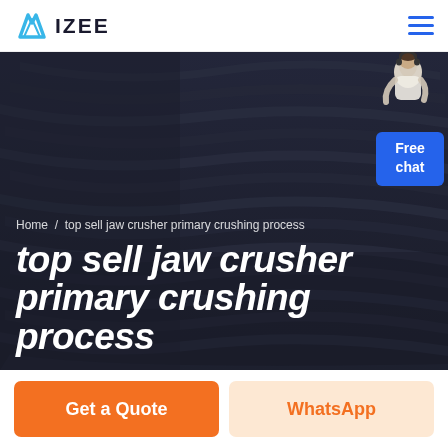IZEE
[Figure (photo): Dark industrial background image of jaw crusher machinery with striated/ridged metal surfaces in a dark gray-blue tone]
Home / top sell jaw crusher primary crushing process
top sell jaw crusher primary crushing process
Get a Quote
WhatsApp